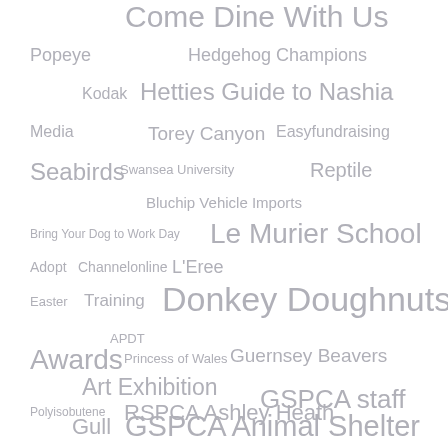[Figure (infographic): Tag cloud / word cloud featuring terms related to GSPCA (Guernsey Society for the Prevention of Cruelty to Animals) and related topics, rendered in varying font sizes in grey on a white background. Terms include: Come Dine With Us, Popeye, Hedgehog Champions, Kodak, Hetties Guide to Nashia, Media, Torey Canyon, Easyfundraising, Seabirds, Swansea University, Reptile, Bluchip Vehicle Imports, Bring Your Dog to Work Day, Le Murier School, Adopt, Channelonline, L'Eree, Easter, Training, Donkey Doughnuts, APDT, Awards, Princess of Wales, Guernsey Beavers, Art Exhibition, Polyisobutene, RSPCA Ashley Heath, GSPCA staff, Gull, GSPCA Animal Shelter, Canine Cancer, Heron, Environment Department, The Prince's Trust TEAM, Chipmunks, Alderney Wildlife Trust.]